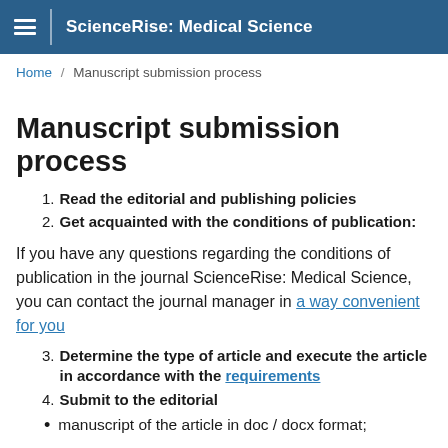ScienceRise: Medical Science
Home / Manuscript submission process
Manuscript submission process
Read the editorial and publishing policies
Get acquainted with the conditions of publication:
If you have any questions regarding the conditions of publication in the journal ScienceRise: Medical Science, you can contact the journal manager in a way convenient for you
Determine the type of article and execute the article in accordance with the requirements
Submit to the editorial
manuscript of the article in doc / docx format;